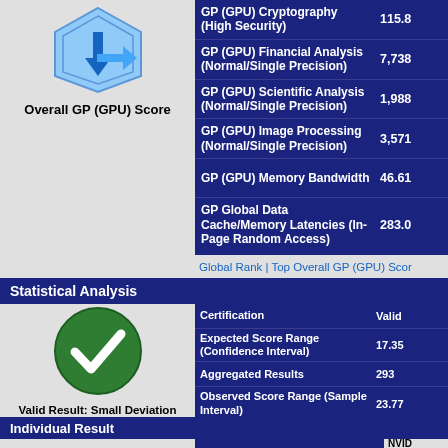[Figure (logo): GPU benchmark logo icon — blue hexagonal shield with downward arrow overlay]
Overall GP (GPU) Score
| Metric | Value |
| --- | --- |
| GP (GPU) Cryptography (High Security) | 115.8 |
| GP (GPU) Financial Analysis (Normal/Single Precision) | 7,738 |
| GP (GPU) Scientific Analysis (Normal/Single Precision) | 1,988 |
| GP (GPU) Image Processing (Normal/Single Precision) | 3,571 |
| GP (GPU) Memory Bandwidth | 46.61 |
| GP Global Data Cache/Memory Latencies (In-Page Random Access) | 283.0 |
Global Rank | Top Overall GP (GPU) Score
Statistical Analysis
[Figure (illustration): Green circle with white checkmark — Valid Result icon]
Valid Result: Small Deviation (within Primary 68% Confidence Interval)
| Metric | Value |
| --- | --- |
| Certification | Valid |
| Expected Score Range (Confidence Interval) | 17.35 |
| Aggregated Results | 293 |
| Observed Score Range (Sample Interval) | 23.77 |
| Standard Deviation | ±3.21 |
| Variation Coefficient (CV) | 13.50 |
| Dispersion Index (VMR) | Low V |
Report Issue
Individual Result
| Result ID |  |
| --- | --- |
|  | NVID |